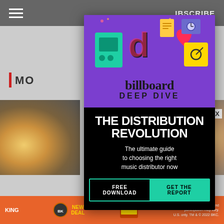SUBSCRIBE
[Figure (screenshot): Billboard Deep Dive modal advertisement for 'The Distribution Revolution' report. Purple top section with TikTok and music app icons illustration, Billboard Deep Dive logo, then black section with bold white text headline 'THE DISTRIBUTION REVOLUTION', subtitle 'The ultimate guide to choosing the right music distributor now', and CTA buttons 'FREE DOWNLOAD' and 'GET THE REPORT' in teal.]
MO
Limited time only. Price and participation may vary. U.S. only. TM & © 2022 BKC.